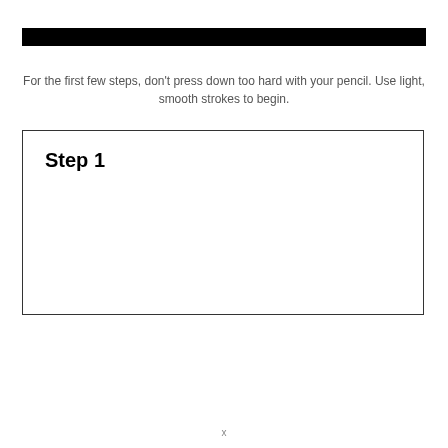For the first few steps, don't press down too hard with your pencil. Use light, smooth strokes to begin.
Step 1